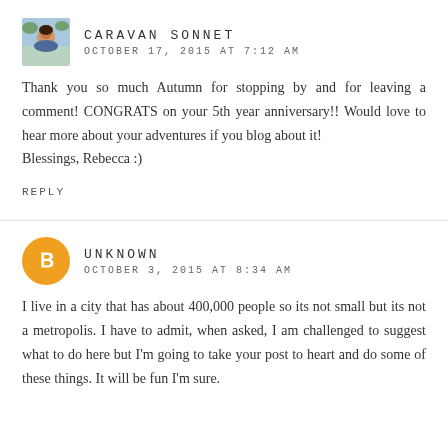[Figure (photo): Avatar photo of Caravan Sonnet blogger]
CARAVAN SONNET
OCTOBER 17, 2015 AT 7:12 AM
Thank you so much Autumn for stopping by and for leaving a comment! CONGRATS on your 5th year anniversary!! Would love to hear more about your adventures if you blog about it! Blessings, Rebecca :)
REPLY
[Figure (logo): Orange circle with white Blogger 'B' icon — avatar for Unknown commenter]
UNKNOWN
OCTOBER 3, 2015 AT 8:34 AM
I live in a city that has about 400,000 people so its not small but its not a metropolis. I have to admit, when asked, I am challenged to suggest what to do here but I'm going to take your post to heart and do some of these things. It will be fun I'm sure.